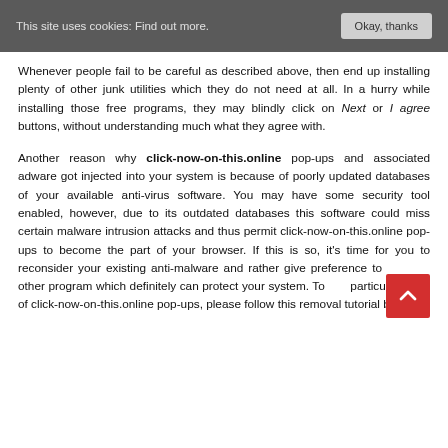This site uses cookies: Find out more. Okay, thanks
Whenever people fail to be careful as described above, then end up installing plenty of other junk utilities which they do not need at all. In a hurry while installing those free programs, they may blindly click on Next or I agree buttons, without understanding much what they agree with.
Another reason why click-now-on-this.online pop-ups and associated adware got injected into your system is because of poorly updated databases of your available anti-virus software. You may have some security tool enabled, however, due to its outdated databases this software could miss certain malware intrusion attacks and thus permit click-now-on-this.online pop-ups to become the part of your browser. If this is so, it's time for you to reconsider your existing anti-malware and rather give preference to some other program which definitely can protect your system. To fix this particular issue of click-now-on-this.online pop-ups, please follow this removal tutorial below.